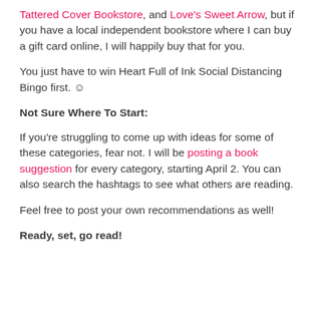Tattered Cover Bookstore, and Love's Sweet Arrow, but if you have a local independent bookstore where I can buy a gift card online, I will happily buy that for you.
You just have to win Heart Full of Ink Social Distancing Bingo first. ☺
Not Sure Where To Start:
If you're struggling to come up with ideas for some of these categories, fear not. I will be posting a book suggestion for every category, starting April 2. You can also search the hashtags to see what others are reading.
Feel free to post your own recommendations as well!
Ready, set, go read!